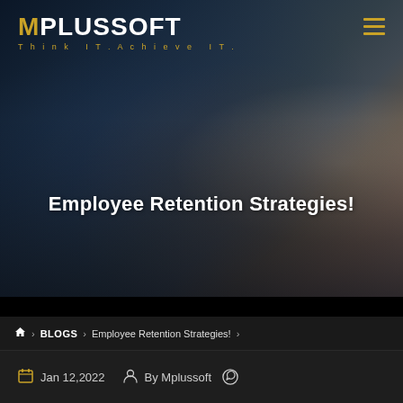[Figure (screenshot): MPLUSSOFT website header/hero image showing hands on keyboard with dark blue overlay and company logo in top-left corner]
Employee Retention Strategies!
🏠 > BLOGS > Employee Retention Strategies! >
Jan 12,2022   By Mplussoft